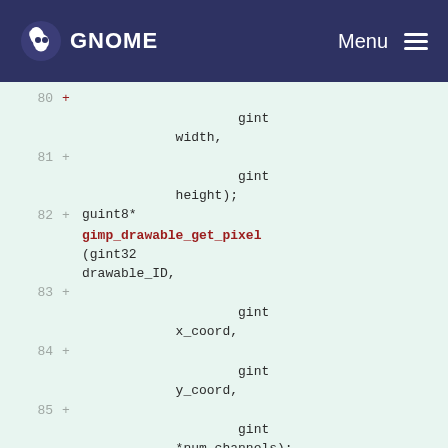GNOME  Menu
[Figure (screenshot): Code diff view showing C function declarations with line numbers 80-86. Lines include gint width, gint height, guint8* gimp_drawable_get_pixel(gint32 drawable_ID, gint x_coord, gint y_coord, gint *num_channels), and gboolean gimp_drawable_set_pixel partial. Added lines marked with + sign. Function names in dark red.]